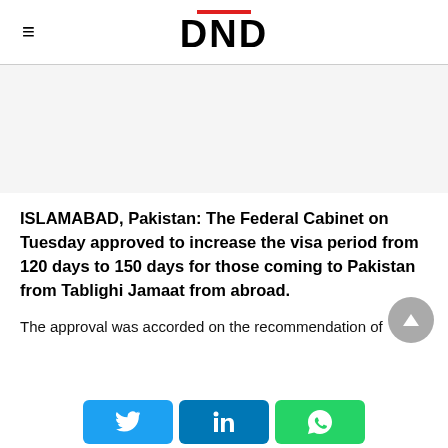DND
[Figure (other): Advertisement placeholder area, gray background]
ISLAMABAD, Pakistan: The Federal Cabinet on Tuesday approved to increase the visa period from 120 days to 150 days for those coming to Pakistan from Tablighi Jamaat from abroad.
The approval was accorded on the recommendation of